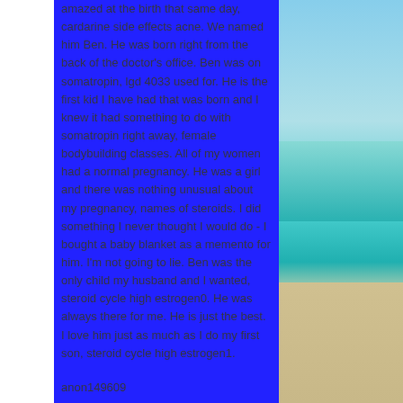amazed at the birth that same day, cardarine side effects acne. We named him Ben. He was born right from the back of the doctor's office. Ben was on somatropin, lgd 4033 used for. He is the first kid I have had that was born and I knew it had something to do with somatropin right away, female bodybuilding classes. All of my women had a normal pregnancy. He was a girl and there was nothing unusual about my pregnancy, names of steroids. I did something I never thought I would do - I bought a baby blanket as a memento for him. I'm not going to lie. Ben was the only child my husband and I wanted, steroid cycle high estrogen0. He was always there for me. He is just the best. I love him just as much as I do my first son, steroid cycle high estrogen1.
anon149609
Post 27 This is true! I had a son, Benjamin...